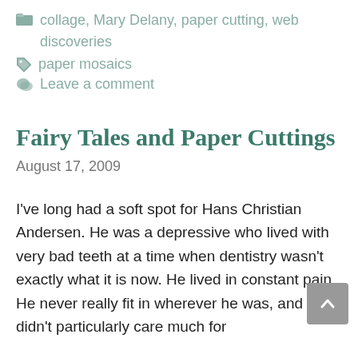collage, Mary Delany, paper cutting, web discoveries
paper mosaics
Leave a comment
Fairy Tales and Paper Cuttings
August 17, 2009
I've long had a soft spot for Hans Christian Andersen. He was a depressive who lived with very bad teeth at a time when dentistry wasn't exactly what it is now. He lived in constant pain. He never really fit in wherever he was, and didn't particularly care much for